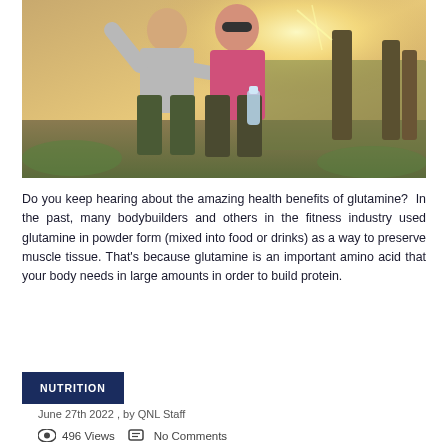[Figure (photo): Two older adults (a man in grey shirt and a woman in pink shirt with sunglasses) walking outdoors in sunshine near vineyard or field, woman holding a water bottle, man raising arm]
Do you keep hearing about the amazing health benefits of glutamine? In the past, many bodybuilders and others in the fitness industry used glutamine in powder form (mixed into food or drinks) as a way to preserve muscle tissue. That's because glutamine is an important amino acid that your body needs in large amounts in order to build protein.
NUTRITION
June 27th 2022 , by QNL Staff
496 Views   No Comments